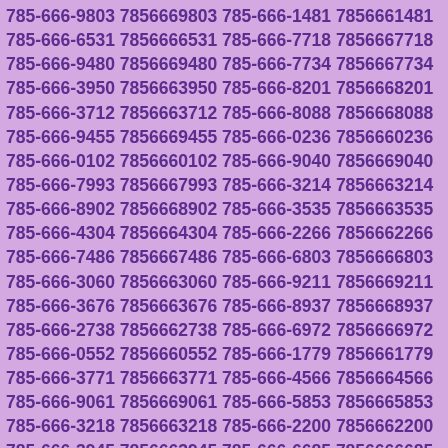785-666-9803 7856669803 785-666-1481 7856661481 785-666-6531 7856666531 785-666-7718 7856667718 785-666-9480 7856669480 785-666-7734 7856667734 785-666-3950 7856663950 785-666-8201 7856668201 785-666-3712 7856663712 785-666-8088 7856668088 785-666-9455 7856669455 785-666-0236 7856660236 785-666-0102 7856660102 785-666-9040 7856669040 785-666-7993 7856667993 785-666-3214 7856663214 785-666-8902 7856668902 785-666-3535 7856663535 785-666-4304 7856664304 785-666-2266 7856662266 785-666-7486 7856667486 785-666-6803 7856666803 785-666-3060 7856663060 785-666-9211 7856669211 785-666-3676 7856663676 785-666-8937 7856668937 785-666-2738 7856662738 785-666-6972 7856666972 785-666-0552 7856660552 785-666-1779 7856661779 785-666-3771 7856663771 785-666-4566 7856664566 785-666-9061 7856669061 785-666-5853 7856665853 785-666-3218 7856663218 785-666-2200 7856662200 785-666-3945 7856663945 785-666-6685 7856666685 785-666-2435 7856662435 785-666-9275 7856669275